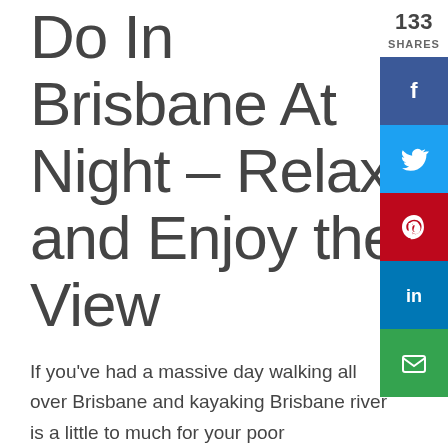Do In Brisbane At Night – Relax and Enjoy the View
133 SHARES
If you've had a massive day walking all over Brisbane and kayaking Brisbane river is a little to much for your poor